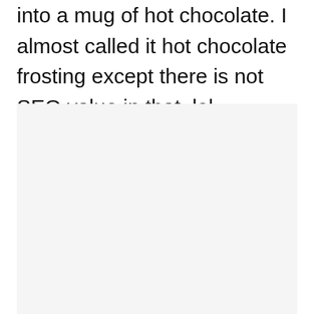into a mug of hot chocolate. I almost called it hot chocolate frosting except there is not SEO value in that, lol.
[Figure (photo): A light gray/off-white rectangular image placeholder area occupying the lower portion of the page.]